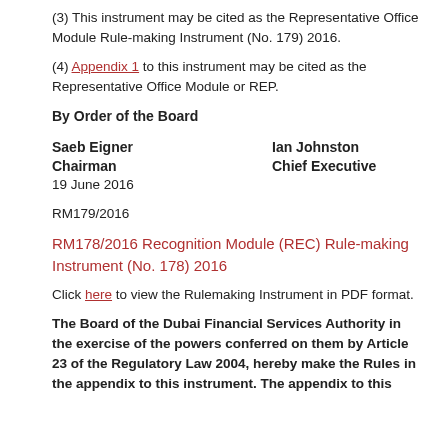(3) This instrument may be cited as the Representative Office Module Rule-making Instrument (No. 179) 2016.
(4) Appendix 1 to this instrument may be cited as the Representative Office Module or REP.
By Order of the Board
Saeb Eigner
Chairman
19 June 2016
Ian Johnston
Chief Executive
RM179/2016
RM178/2016 Recognition Module (REC) Rule-making Instrument (No. 178) 2016
Click here to view the Rulemaking Instrument in PDF format.
The Board of the Dubai Financial Services Authority in the exercise of the powers conferred on them by Article 23 of the Regulatory Law 2004, hereby make the Rules in the appendix to this instrument. The appendix to this